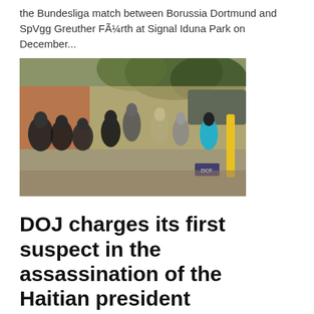the Bundesliga match between Borussia Dortmund and SpVgg Greuther FÃ¼rth at Signal Iduna Park on December...
[Figure (photo): Outdoor scene showing armed military/police personnel and civilians gathered in a courtyard or street, likely related to the Haitian president assassination investigation.]
DOJ charges its first suspect in the assassination of the Haitian president
Martha J. Budg...    Jan 5, 2022
Top line The Justice Ministry on Tuesday indicted a former Colombian military officer with involvement in the plot to kill former Haitian President Jovenel MoÃ¯se, marking the first US